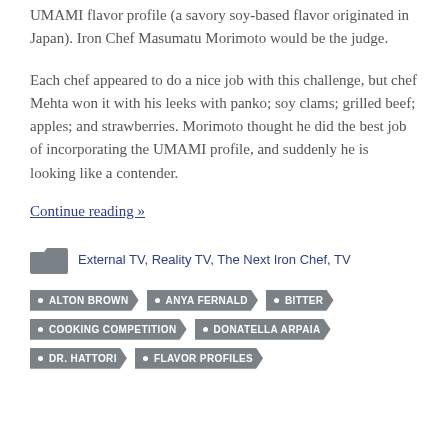UMAMI flavor profile (a savory soy-based flavor originated in Japan). Iron Chef Masumatu Morimoto would be the judge.
Each chef appeared to do a nice job with this challenge, but chef Mehta won it with his leeks with panko; soy clams; grilled beef; apples; and strawberries. Morimoto thought he did the best job of incorporating the UMAMI profile, and suddenly he is looking like a contender.
Continue reading »
External TV, Reality TV, The Next Iron Chef, TV
ALTON BROWN
ANYA FERNALD
BITTER
COOKING COMPETITION
DONATELLA ARPAIA
DR. HATTORI
FLAVOR PROFILES